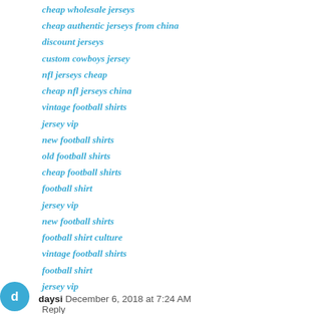cheap wholesale jerseys
cheap authentic jerseys from china
discount jerseys
custom cowboys jersey
nfl jerseys cheap
cheap nfl jerseys china
vintage football shirts
jersey vip
new football shirts
old football shirts
cheap football shirts
football shirt
jersey vip
new football shirts
football shirt culture
vintage football shirts
football shirt
jersey vip
Reply
daysi December 6, 2018 at 7:24 AM